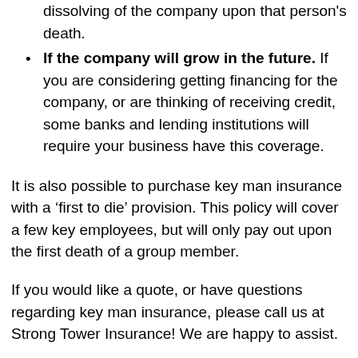dissolving of the company upon that person's death.
If the company will grow in the future. If you are considering getting financing for the company, or are thinking of receiving credit, some banks and lending institutions will require your business have this coverage.
It is also possible to purchase key man insurance with a ‘first to die’ provision. This policy will cover a few key employees, but will only pay out upon the first death of a group member.
If you would like a quote, or have questions regarding key man insurance, please call us at Strong Tower Insurance! We are happy to assist.